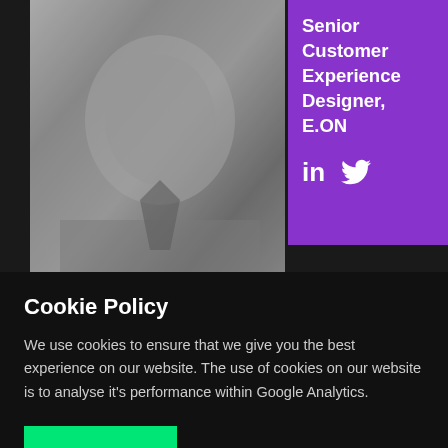[Figure (photo): Black and white headshot photo of a bearded middle-aged man in a blazer, top half of page]
Senior Customer Experience Designer, E.ON
[Figure (photo): Black and white photo of a second person, partially visible, bottom portion of page]
Paul
Cookie Policy
We use cookies to ensure that we give you the best experience on our website. The use of cookies on our website is to analyse it's performance within Google Analytics.
ACCEPT
DENY